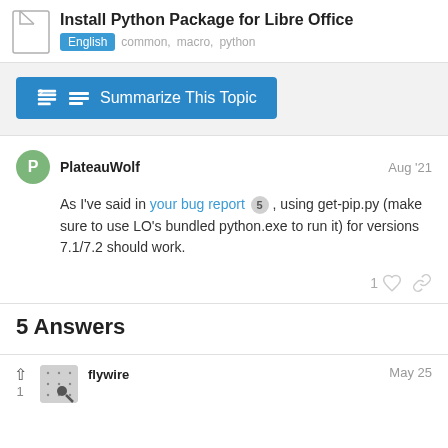Install Python Package for Libre Office
English  common,  macro,  python
Summarize This Topic
PlateauWolf  Aug '21
As I've said in your bug report 5 , using get-pip.py (make sure to use LO's bundled python.exe to run it) for versions 7.1/7.2 should work.
5 Answers
flywire  May 25